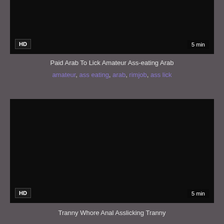[Figure (screenshot): Dark/black video thumbnail with HD badge bottom-left and 5 min duration bottom-right]
Paid Arab To Lick Amateur Ass-eating Arab
amateur, ass eating, arab, rimjob, ass lick
[Figure (screenshot): Dark/black video thumbnail with HD badge bottom-left and 5 min duration bottom-right]
Tranny Whore Anal Asslicking Tranny